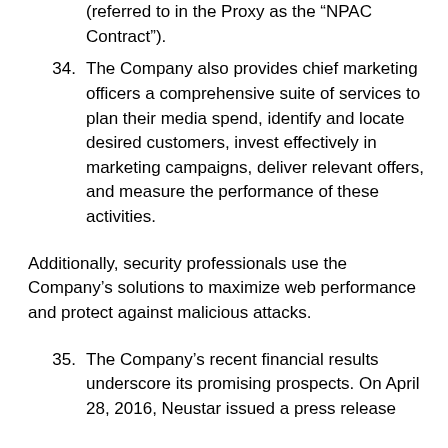(referred to in the Proxy as the “NPAC Contract”).
34. The Company also provides chief marketing officers a comprehensive suite of services to plan their media spend, identify and locate desired customers, invest effectively in marketing campaigns, deliver relevant offers, and measure the performance of these activities.
Additionally, security professionals use the Company’s solutions to maximize web performance and protect against malicious attacks.
35. The Company’s recent financial results underscore its promising prospects. On April 28, 2016, Neustar issued a press release